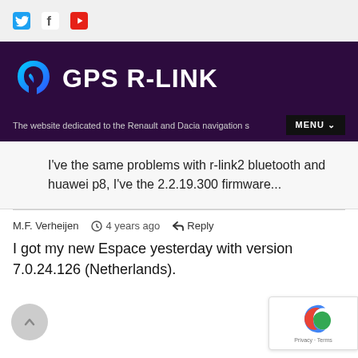GPS R-LINK — The website dedicated to the Renault and Dacia navigation s… MENU
I've the same problems with r-link2 bluetooth and huawei p8, I've the 2.2.19.300 firmware...
M.F. Verheijen  🕐 4 years ago  ↩ Reply
I got my new Espace yesterday with version 7.0.24.126 (Netherlands).